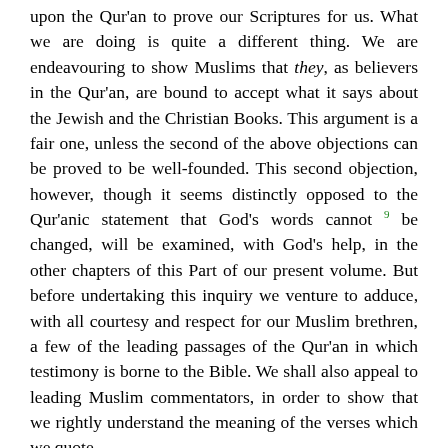upon the Qur'an to prove our Scriptures for us. What we are doing is quite a different thing. We are endeavouring to show Muslims that they, as believers in the Qur'an, are bound to accept what it says about the Jewish and the Christian Books. This argument is a fair one, unless the second of the above objections can be proved to be well-founded. This second objection, however, though it seems distinctly opposed to the Qur'anic statement that God's words cannot 9 be changed, will be examined, with God's help, in the other chapters of this Part of our present volume. But before undertaking this inquiry we venture to adduce, with all courtesy and respect for our Muslim brethren, a few of the leading passages of the Qur'an in which testimony is borne to the Bible. We shall also appeal to leading Muslim commentators, in order to show that we rightly understand the meaning of the verses which we quote.
It is clear from the Qur'an itself that "the Book" (ألكِتاب), that is to say, the Bible, existed among "the People of the Book" (أهل آلكِتاب) in Muhammad's time, and was not "a name devoid of the thing named". This is evident from many passages of